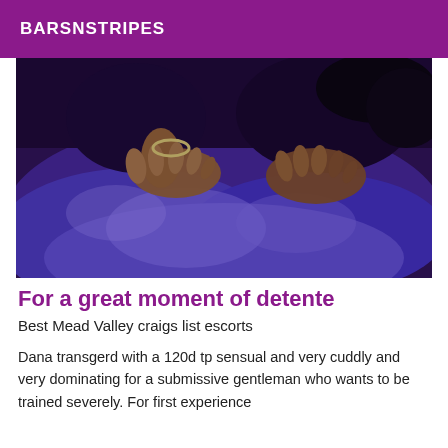BARSNSTRIPES
[Figure (photo): Person leaning over a dark blue/purple fluffy surface, hands pressed down on it, viewed from above]
For a great moment of detente
Best Mead Valley craigs list escorts
Dana transgerd with a 120d tp sensual and very cuddly and very dominating for a submissive gentleman who wants to be trained severely. For first experience